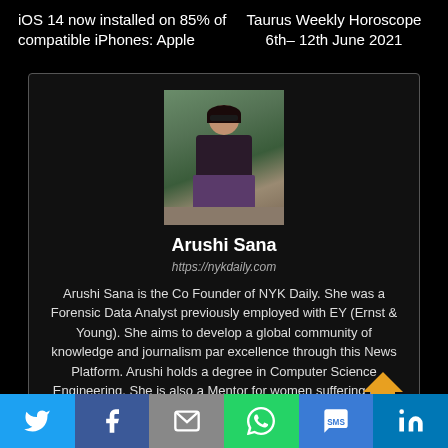iOS 14 now installed on 85% of compatible iPhones: Apple
Taurus Weekly Horoscope 6th– 12th June 2021
[Figure (photo): Photo of Arushi Sana sitting outdoors with greenery in background]
Arushi Sana
https://nykdaily.com
Arushi Sana is the Co Founder of NYK Daily. She was a Forensic Data Analyst previously employed with EY (Ernst & Young). She aims to develop a global community of knowledge and journalism par excellence through this News Platform. Arushi holds a degree in Computer Science Engineering. She is also a Mentor for women suffering from Mental Health, and helps them in becoming
Social share buttons: Twitter, Facebook, Email, WhatsApp, SMS, LinkedIn